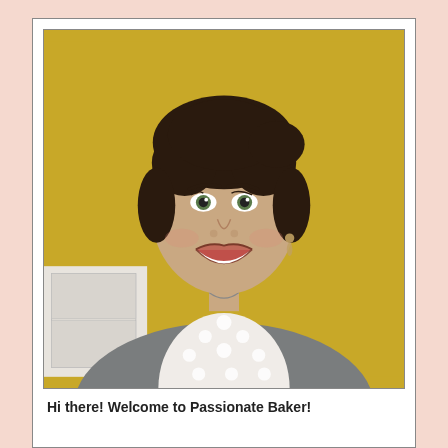[Figure (photo): A smiling young woman with dark hair pulled back, wearing a grey cardigan over a white floral lace top, seated in front of a mustard yellow wall with a white cabinet visible in the background.]
Hi there! Welcome to Passionate Baker!